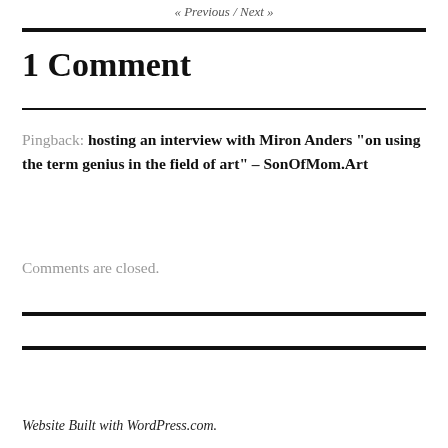« Previous / Next »
1 Comment
Pingback: hosting an interview with Miron Anders “on using the term genius in the field of art” – SonOfMom.Art
Comments are closed.
Website Built with WordPress.com.